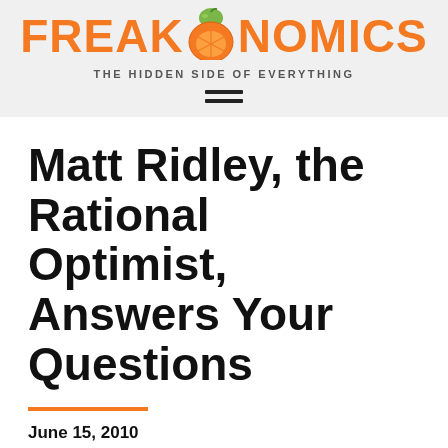[Figure (logo): Freakonomics logo with orange fruit replacing the letter O, tagline 'THE HIDDEN SIDE OF EVERYTHING', and hamburger menu icon below]
Matt Ridley, the Rational Optimist, Answers Your Questions
June 15, 2010